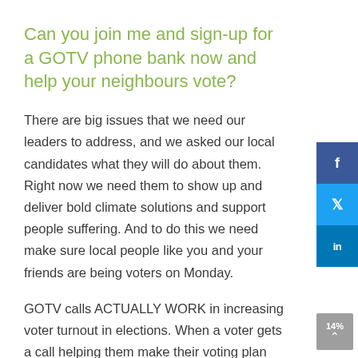Can you join me and sign-up for a GOTV phone bank now and help your neighbours vote?
There are big issues that we need our leaders to address, and we asked our local candidates what they will do about them. Right now we need them to show up and deliver bold climate solutions and support people suffering. And to do this we need make sure local people like you and your friends are being voters on Monday.
GOTV calls ACTUALLY WORK in increasing voter turnout in elections. When a voter gets a call helping them make their voting plan they are 14% more likely to actually vote.